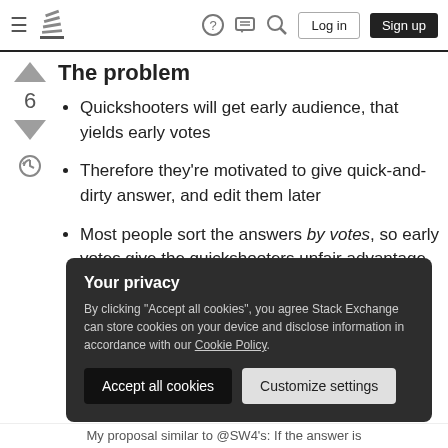Stack Exchange navigation bar with hamburger menu, logo, help, chat, search icons, Log in and Sign up buttons
The problem
Quickshooters will get early audience, that yields early votes
Therefore they're motivated to give quick-and-dirty answer, and edit them later
Most people sort the answers by votes, so early votes give the quickshooters unfair advantage over the more founded, but slower answers.
Your privacy
By clicking "Accept all cookies", you agree Stack Exchange can store cookies on your device and disclose information in accordance with our Cookie Policy.
Accept all cookies | Customize settings
My proposal similar to @SW4's: If the answer is